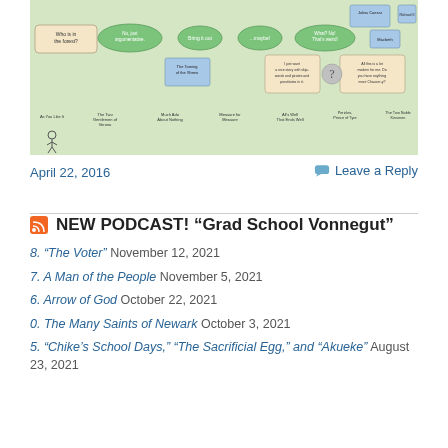[Figure (illustration): Flowchart/decision tree illustration about Shakespeare plays with cartoon stick figures, connecting boxes with labels like 'Who is in the forest?', 'No, just argumentative', 'Bring it out', '...maybe!', 'What? No! That's weird!', 'The Taming of the Shrew', 'Julius Caesar', 'Macbeth', 'Richard II', 'As You Like It', 'The Two Gentlemen of Verona', 'Much Ado About Nothing', 'Measure for Measure', 'All's Well That Ends Well', 'Pericles, Prince of Tyre', 'The Two Noble Kinsmen'. Background is tan/beige with green ovals and blue boxes.]
April 22, 2016
Leave a Reply
NEW PODCAST! “Grad School Vonnegut”
8. "The Voter" November 12, 2021
7. A Man of the People November 5, 2021
6. Arrow of God October 22, 2021
0. The Many Saints of Newark October 3, 2021
5. "Chike's School Days," "The Sacrificial Egg," and "Akueke" August 23, 2021